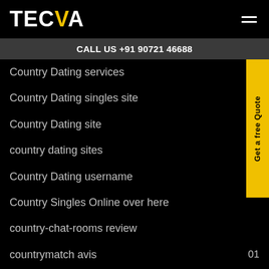TECVA
CALL US +91 90721 46688
Country Dating services  01
Country Dating singles site  01
Country Dating site  01
country dating sites
Country Dating username
Country Singles Online over here
country-chat-rooms review
countrymatch avis  01
countrymatch gratis  01
Countrymatch instalar  01
Get a free Quote